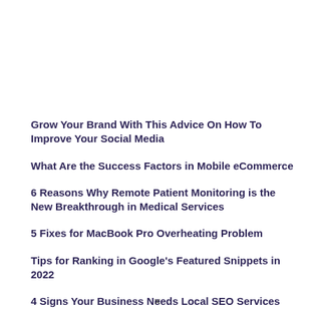Grow Your Brand With This Advice On How To Improve Your Social Media
What Are the Success Factors in Mobile eCommerce
6 Reasons Why Remote Patient Monitoring is the New Breakthrough in Medical Services
5 Fixes for MacBook Pro Overheating Problem
Tips for Ranking in Google's Featured Snippets in 2022
4 Signs Your Business Needs Local SEO Services